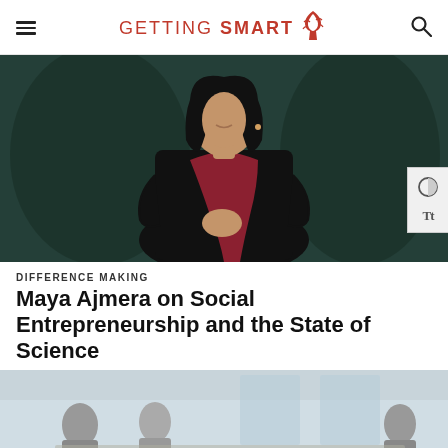GETTING SMART
[Figure (photo): A woman with dark hair wearing a black blazer and dark red/maroon scarf, speaking on a stage with hands clasped, against a dark green background]
DIFFERENCE MAKING
Maya Ajmera on Social Entrepreneurship and the State of Science
[Figure (photo): Students or people in a classroom/workshop setting, partially visible at the bottom of the page]